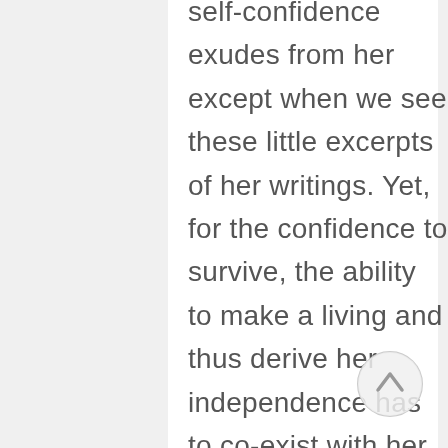self-confidence exudes from her except when we see these little excerpts of her writings. Yet, for the confidence to survive, the ability to make a living and thus derive her independence has to co-exist with her strong ability to make art. If she can make a living through her ability to make art, then she must strive for that. Ask anyone who has been successful in whatever path they